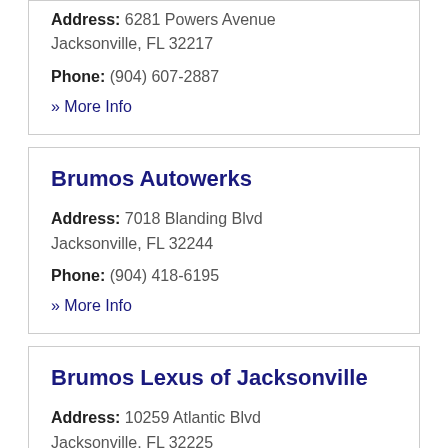Address: 6281 Powers Avenue Jacksonville, FL 32217
Phone: (904) 607-2887
» More Info
Brumos Autowerks
Address: 7018 Blanding Blvd Jacksonville, FL 32244
Phone: (904) 418-6195
» More Info
Brumos Lexus of Jacksonville
Address: 10259 Atlantic Blvd Jacksonville, FL 32225